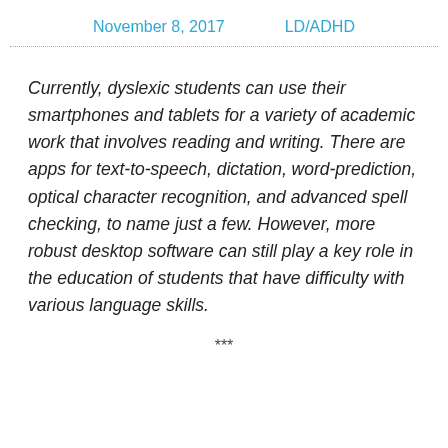November 8, 2017     LD/ADHD
Currently, dyslexic students can use their smartphones and tablets for a variety of academic work that involves reading and writing. There are apps for text-to-speech, dictation, word-prediction, optical character recognition, and advanced spell checking, to name just a few. However, more robust desktop software can still play a key role in the education of students that have difficulty with various language skills.
***